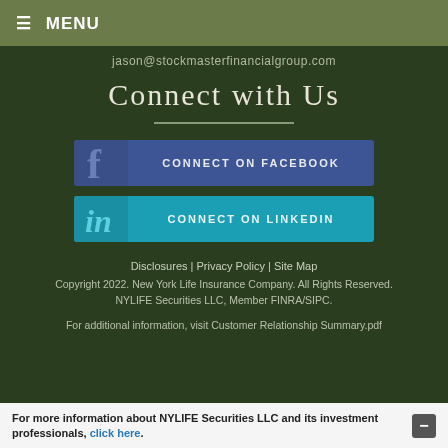≡ MENU
jason@stockmasterfinancialgroup.com
Connect with Us
[Figure (other): Connect on Facebook button with Facebook logo icon]
[Figure (other): Connect on LinkedIn button with LinkedIn logo icon]
Disclosures | Privacy Policy | Site Map
Copyright 2022. New York Life Insurance Company. All Rights Reserved. NYLIFE Securities LLC, Member FINRA/SIPC.
For additional information, visit Customer Relationship Summary.pdf
For more information about NYLIFE Securities LLC and its investment professionals, click here.